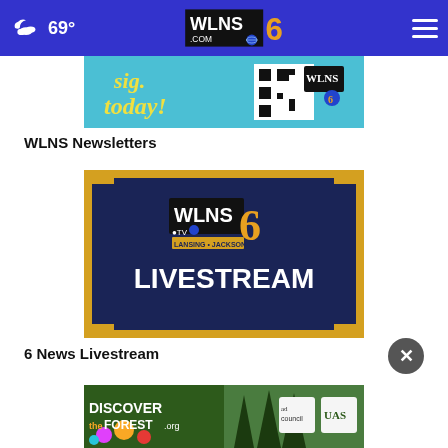69° WLNS.COM 6
[Figure (screenshot): Advertisement banner showing 'today!' with QR code and WLNS logo on teal background]
WLNS Newsletters
[Figure (screenshot): WLNS TV 6 Lansing-Jackson LIVESTREAM thumbnail with navy background and gold border corners]
6 News Livestream
[Figure (screenshot): DISCOVERtheForest.org advertisement banner with forest imagery, Ad Council and US Forest Service logos]